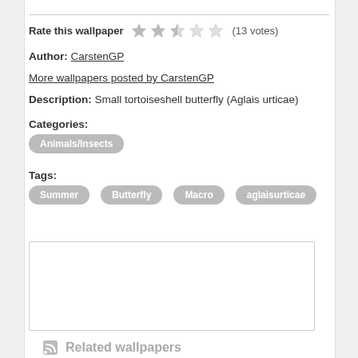Rate this wallpaper (13 votes)
Author: CarstenGP
More wallpapers posted by CarstenGP
Description: Small tortoiseshell butterfly (Aglais urticae)
Categories:
Animals/Insects
Tags:
Summer  Butterfly  Macro  aglaisurticae
[Figure (other): Empty textarea/comment input box]
Related wallpapers